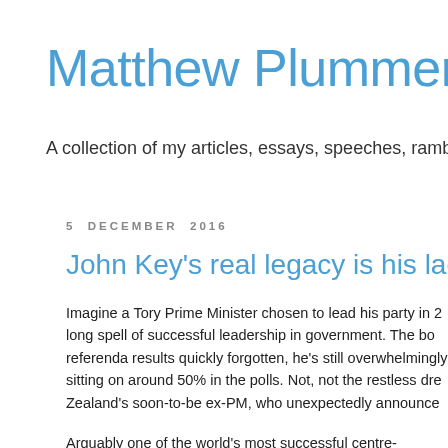Matthew Plummer's blo
A collection of my articles, essays, speeches, ramb
5 DECEMBER 2016
John Key's real legacy is his lack of blun
Imagine a Tory Prime Minister chosen to lead his party in 2 long spell of successful leadership in government. The bo referenda results quickly forgotten, he's still overwhelming sitting on around 50% in the polls. Not, not the restless dr Zealand's soon-to-be ex-PM, who unexpectedly announce
Arguably one of the world's most successful centre-